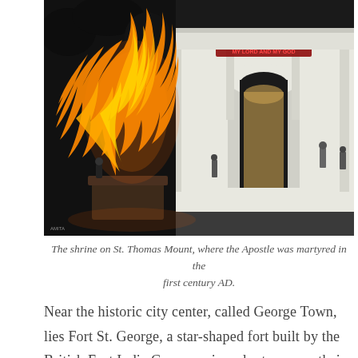[Figure (photo): Nighttime photo of the shrine on St. Thomas Mount. In the foreground is an illuminated orange statue, and in the background is a white colonial-style building with an arched entrance gate lit up at night. A sign above the arch reads 'MY LORD AND MY GOD'. People are visible near the entrance.]
The shrine on St. Thomas Mount, where the Apostle was martyred in the first century AD.
Near the historic city center, called George Town, lies Fort St. George, a star-shaped fort built by the British East India Company in order to secure their foothold for trade in the region. Although the fort never saw any military action, it served as an important base for the development of the British governing structure in India. Nowadays, the fort houses various government institutions. One of the buildings has been